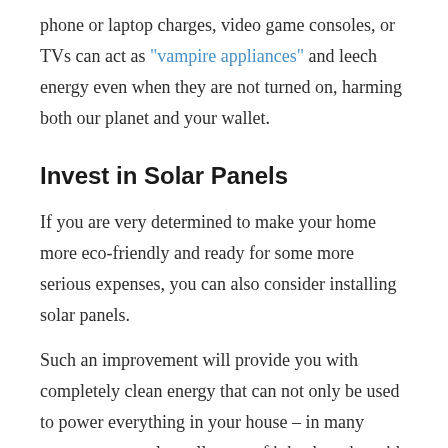phone or laptop charges, video game consoles, or TVs can act as "vampire appliances" and leech energy even when they are not turned on, harming both our planet and your wallet.
Invest in Solar Panels
If you are very determined to make your home more eco-friendly and ready for some more serious expenses, you can also consider installing solar panels.
Such an improvement will provide you with completely clean energy that can not only be used to power everything in your house – in many cases, you can also sell some of it back to the grid.
Ho...